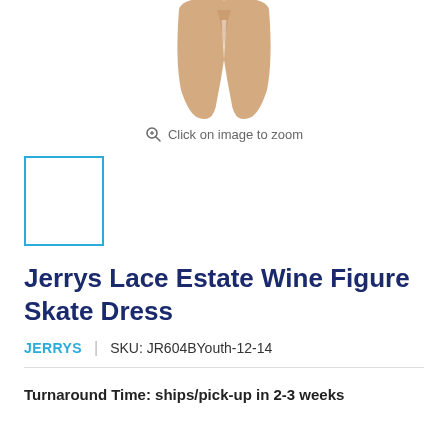[Figure (photo): Cropped photo of legs wearing skin-toned tights, crossed at the ankles, viewed from mid-thigh down against a white background]
Click on image to zoom
[Figure (photo): Small thumbnail image with a blue border outline, content appears blank/white]
Jerrys Lace Estate Wine Figure Skate Dress
JERRYS  |  SKU: JR604BYouth-12-14
Turnaround Time:  ships/pick-up in 2-3 weeks